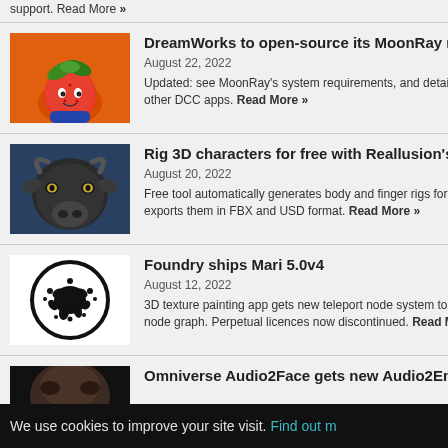support. Read More »
[Figure (photo): 3D rendered character resembling a strawberry girl with green leaf hat on orange background]
DreamWorks to open-source its MoonRay renderer
August 22, 2022
Updated: see MoonRay's system requirements, and details of how it integrates with other DCC apps. Read More »
[Figure (photo): Close-up photo of a dark bull or cow face]
Rig 3D characters for free with Reallusion's AccuR…
August 20, 2022
Free tool automatically generates body and finger rigs for humans and exports them in FBX and USD format. Read More »
[Figure (logo): Mari software logo: black ink splat inside a circle]
Foundry ships Mari 5.0v4
August 12, 2022
3D texture painting app gets new teleport node system to remove jumps in node graph. Perpetual licences now discontinued. Read More »
[Figure (photo): Partial image of a human face]
Omniverse Audio2Face gets new Audio2Emotion…
We use cookies to improve your site visit. Find out more